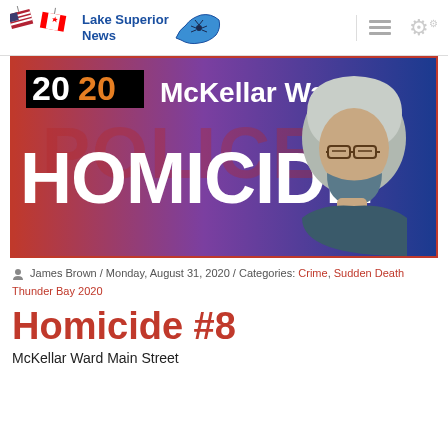Lake Superior News
[Figure (photo): Article banner image showing '2020 McKellar Ward HOMICIDE' text over a red-blue police background with a photo of a person in a silver hood and glasses]
James Brown / Monday, August 31, 2020 / Categories: Crime, Sudden Death Thunder Bay 2020
Homicide #8
McKellar Ward Main Street